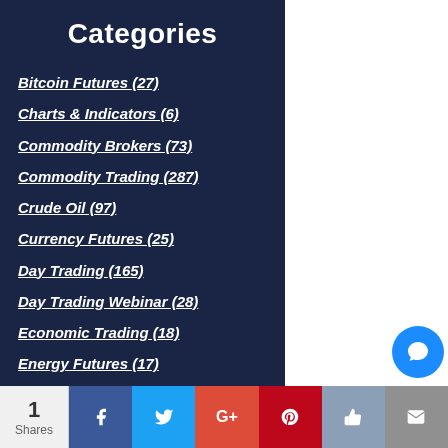Categories
Bitcoin Futures (27)
Charts & Indicators (6)
Commodity Brokers (73)
Commodity Trading (287)
Crude Oil (97)
Currency Futures (25)
Day Trading (165)
Day Trading Webinar (28)
Economic Trading (18)
Energy Futures (17)
Financial Futures (28)
Future Trading News (2359)
Future Trading Platform (61)